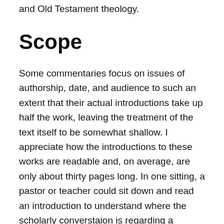and Old Testament theology.
Scope
Some commentaries focus on issues of authorship, date, and audience to such an extent that their actual introductions take up half the work, leaving the treatment of the text itself to be somewhat shallow. I appreciate how the introductions to these works are readable and, on average, are only about thirty pages long. In one sitting, a pastor or teacher could sit down and read an introduction to understand where the scholarly converstaion is regarding a particular book.